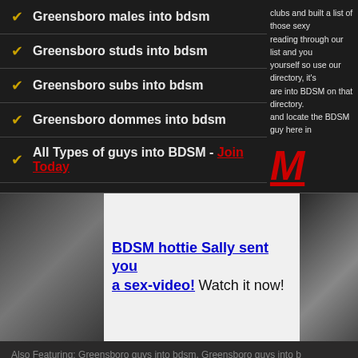Greensboro males into bdsm
Greensboro studs into bdsm
Greensboro subs into bdsm
Greensboro dommes into bdsm
All Types of guys into BDSM - Join Today
clubs and built a list of those sexy reading through our list and you yourself so use our directory, it's are into BDSM on that directory. and locate the BDSM guy here in
M
[Figure (photo): Adult content image - BDSM themed]
BDSM hottie Sally sent you a sex-video! Watch it now!
[Figure (photo): Adult content image - BDSM themed second]
Subm (Ashb sex re
Also Featuring: Greensboro guys into bdsm, Greensboro guys into b
Copyright North Carolina BDS